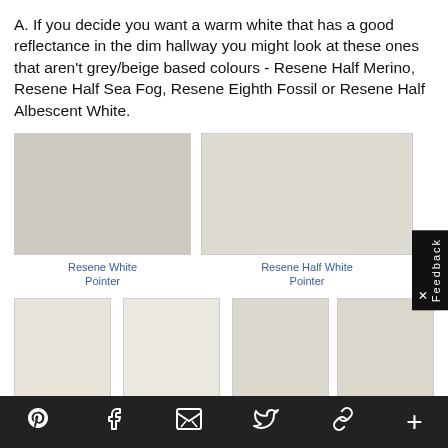A. If you decide you want a warm white that has a good reflectance in the dim hallway you might look at these ones that aren't grey/beige based colours - Resene Half Merino, Resene Half Sea Fog, Resene Eighth Fossil or Resene Half Albescent White.
[Figure (other): Six paint color swatches arranged in two rows. Row 1: Resene White Pointer (light warm grey), Resene Half White Pointer (very light). Row 2: Resene Half Merino (off-white warm), Resene Half Sea Fog (off-white), Resene Eighth Fossil (pale beige), Resene Half Albescent White (pale greige).]
April 2017
Pinterest Facebook Email Twitter Link Plus